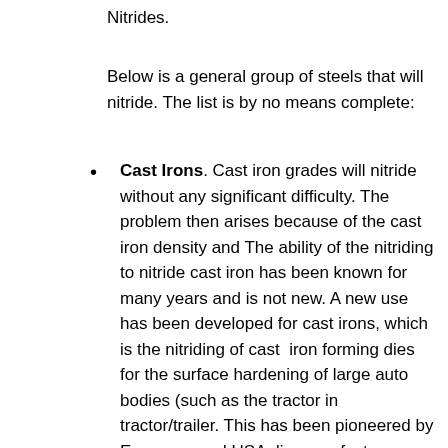Nitrides.
Below is a general group of steels that will nitride. The list is by no means complete:
Cast Irons. Cast iron grades will nitride without any significant difficulty. The problem then arises because of the cast iron density and The ability of the nitriding to nitride cast iron has been known for many years and is not new. A new use has been developed for cast irons, which is the nitriding of cast iron forming dies for the surface hardening of large auto bodies (such as the tractor in tractor/trailer. This has been pioneered by European and USA die manufacturers with commercial heattreaters.